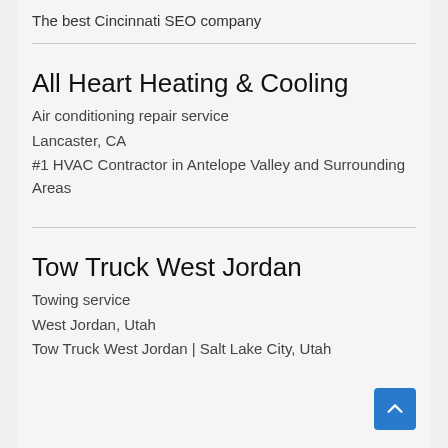The best Cincinnati SEO company
All Heart Heating & Cooling
Air conditioning repair service
Lancaster, CA
#1 HVAC Contractor in Antelope Valley and Surrounding Areas
Tow Truck West Jordan
Towing service
West Jordan, Utah
Tow Truck West Jordan | Salt Lake City, Utah